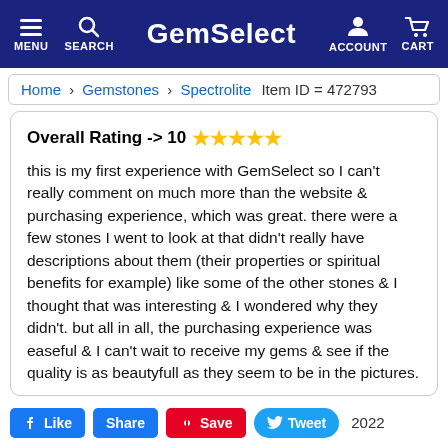GemSelect — MENU | SEARCH | ACCOUNT | CART
Home  Gemstones  Spectrolite  Item ID = 472793
Overall Rating -> 10 ★★★★★
this is my first experience with GemSelect so I can't really comment on much more than the website & purchasing experience, which was great. there were a few stones I went to look at that didn't really have descriptions about them (their properties or spiritual benefits for example) like some of the other stones & I thought that was interesting & I wondered why they didn't. but all in all, the purchasing experience was easeful & I can't wait to receive my gems & see if the quality is as beautyfull as they seem to be in the pictures.
👍 Like  Share  ⊕ Save  🐦 Tweet  2022